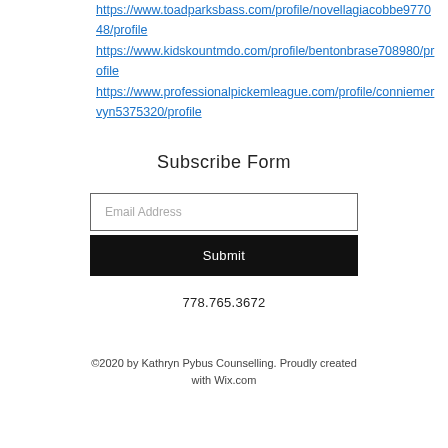https://www.toadparksbass.com/profile/novellagiacobbe977048/profile https://www.kidskountmdo.com/profile/bentonbrase708980/profile https://www.professionalpickemleague.com/profile/conniemervyn5375320/profile
Subscribe Form
Email Address
Submit
778.765.3672
©2020 by Kathryn Pybus Counselling. Proudly created with Wix.com